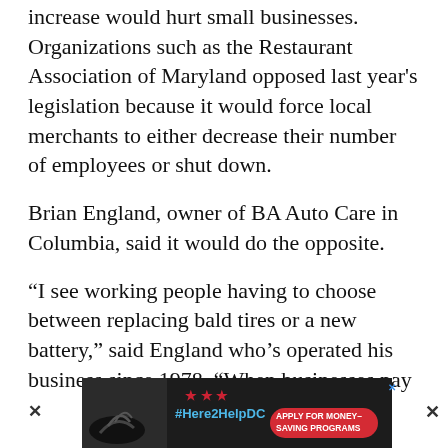increase would hurt small businesses. Organizations such as the Restaurant Association of Maryland opposed last year's legislation because it would force local merchants to either decrease their number of employees or shut down.
Brian England, owner of BA Auto Care in Columbia, said it would do the opposite.
“I see working people having to choose between replacing bald tires or a new battery,” said England who’s operated his business since 1978. “When businesses pay
[Figure (other): Advertisement banner: dark background with a photo of hands, stars, #Here2HelpDC hashtag in blue, and a red pill button reading 'APPLY FOR MONEY-SAVING PROGRAMS'. Close X button visible.]